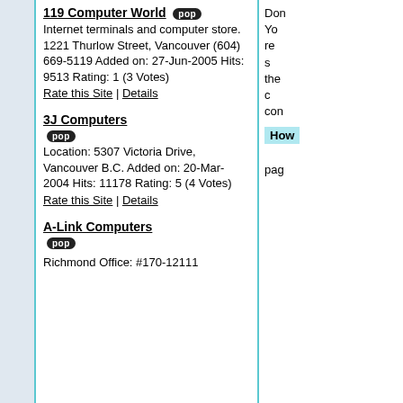119 Computer World [pop] Internet terminals and computer store. 1221 Thurlow Street, Vancouver (604) 669-5119 Added on: 27-Jun-2005 Hits: 9513 Rating: 1 (3 Votes) Rate this Site | Details
3J Computers [pop] Location: 5307 Victoria Drive, Vancouver B.C. Added on: 20-Mar-2004 Hits: 11178 Rating: 5 (4 Votes) Rate this Site | Details
A-Link Computers [pop] Richmond Office: #170-12111
Don Yo re s the c con
How
pag